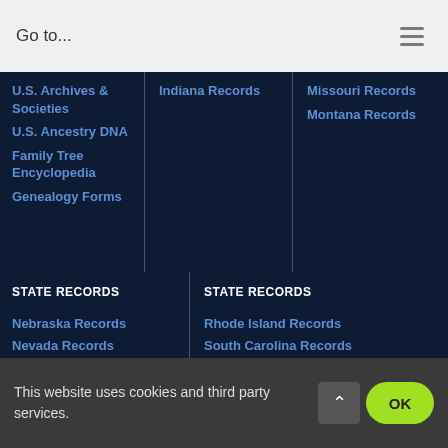Go to...
U.S. Archives & Societies
U.S. Ancestry DNA
Family Tree Encyclopedia
Genealogy Forms
Indiana Records
Missouri Records
Montana Records
STATE RECORDS
STATE RECORDS
Nebraska Records
Nevada Records
New Hampshire Records
Rhode Island Records
South Carolina Records
Records
This website uses cookies and third party services.